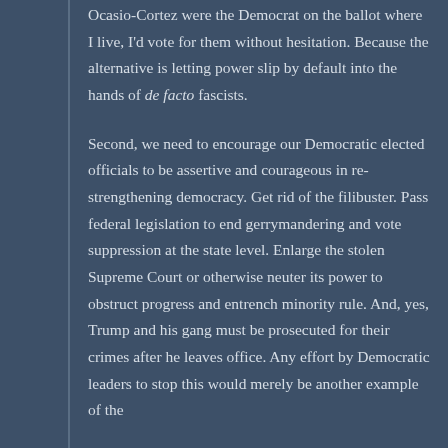Ocasio-Cortez were the Democrat on the ballot where I live, I'd vote for them without hesitation. Because the alternative is letting power slip by default into the hands of de facto fascists.
Second, we need to encourage our Democratic elected officials to be assertive and courageous in re-strengthening democracy. Get rid of the filibuster. Pass federal legislation to end gerrymandering and vote suppression at the state level. Enlarge the stolen Supreme Court or otherwise neuter its power to obstruct progress and entrench minority rule. And, yes, Trump and his gang must be prosecuted for their crimes after he leaves office. Any effort by Democratic leaders to stop this would merely be another example of the